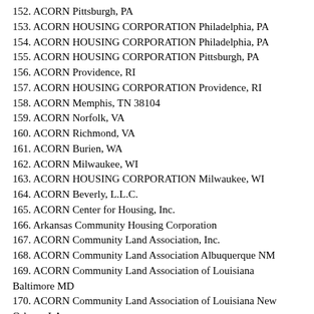152. ACORN Pittsburgh, PA
153. ACORN HOUSING CORPORATION Philadelphia, PA
154. ACORN HOUSING CORPORATION Philadelphia, PA
155. ACORN HOUSING CORPORATION Pittsburgh, PA
156. ACORN Providence, RI
157. ACORN HOUSING CORPORATION Providence, RI
158. ACORN Memphis, TN 38104
159. ACORN Norfolk, VA
160. ACORN Richmond, VA
161. ACORN Burien, WA
162. ACORN Milwaukee, WI
163. ACORN HOUSING CORPORATION Milwaukee, WI
164. ACORN Beverly, L.L.C.
165. ACORN Center for Housing, Inc.
166. Arkansas Community Housing Corporation
167. ACORN Community Land Association, Inc.
168. ACORN Community Land Association Albuquerque NM
169. ACORN Community Land Association of Louisiana Baltimore MD
170. ACORN Community Land Association of Louisiana New Orleans LA
171. ACORN Community Land Association of Pennsylvania, Inc.
172. ACORN Community Land Association of IL.
173. ACORN Community Labor Organizing Center, Inc.
174. ACORN Fair Housing, A Project Of American Institute